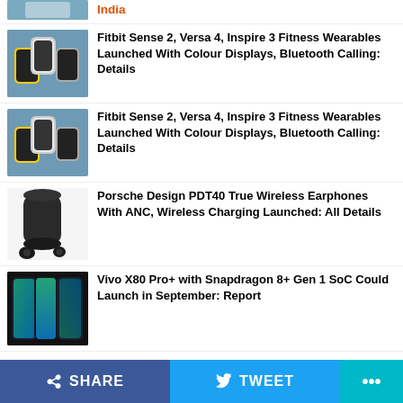India
[Figure (photo): Partial image of smartwatch/device at top of list]
Fitbit Sense 2, Versa 4, Inspire 3 Fitness Wearables Launched With Colour Displays, Bluetooth Calling: Details
[Figure (photo): Fitbit Sense 2, Versa 4, Inspire 3 fitness wearables product photo]
Fitbit Sense 2, Versa 4, Inspire 3 Fitness Wearables Launched With Colour Displays, Bluetooth Calling: Details
[Figure (photo): Porsche Design PDT40 true wireless earphones product photo]
Porsche Design PDT40 True Wireless Earphones With ANC, Wireless Charging Launched: All Details
[Figure (photo): Vivo X80 Pro+ smartphone product photo]
Vivo X80 Pro+ with Snapdragon 8+ Gen 1 SoC Could Launch in September: Report
SHARE   TWEET   ...